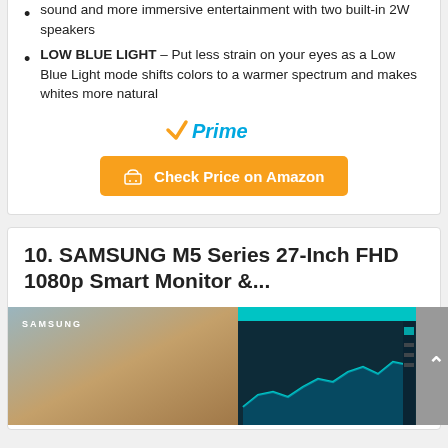sound and more immersive entertainment with two built-in 2W speakers
LOW BLUE LIGHT – Put less strain on your eyes as a Low Blue Light mode shifts colors to a warmer spectrum and makes whites more natural
[Figure (logo): Amazon Prime checkmark logo with italic 'Prime' text in blue]
Check Price on Amazon
10. SAMSUNG M5 Series 27-Inch FHD 1080p Smart Monitor &...
[Figure (photo): Samsung smart monitor showing split screen with nature image on left and stock chart dashboard on right, Samsung logo visible]